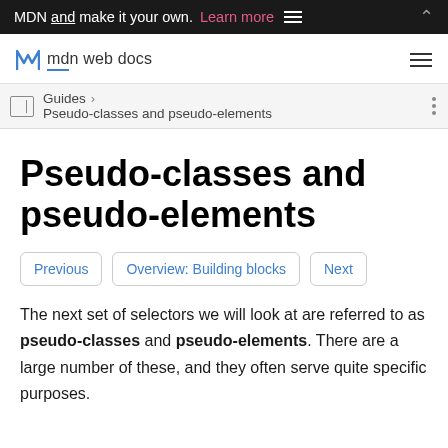MDN and make it your own. Learn more
mdn web docs
Guides > Pseudo-classes and pseudo-elements
Pseudo-classes and pseudo-elements
Previous | Overview: Building blocks | Next
The next set of selectors we will look at are referred to as pseudo-classes and pseudo-elements. There are a large number of these, and they often serve quite specific purposes.